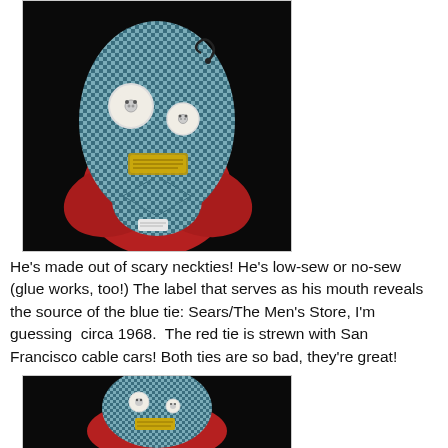[Figure (photo): A doll/creature made from necktie fabric. The body is made of a blue houndstooth-patterned necktie. It has two white button eyes of different sizes, a gold/metallic tie label serving as its mouth, and a red necktie forming a collar or body wrap. The figure is photographed against a black background.]
He's made out of scary neckties! He's low-sew or no-sew (glue works, too!) The label that serves as his mouth reveals the source of the blue tie: Sears/The Men's Store, I'm guessing circa 1968. The red tie is strewn with San Francisco cable cars! Both ties are so bad, they're great!
[Figure (photo): A smaller or more distant view of the same necktie doll/creature, showing the blue houndstooth patterned tie head with button eyes and gold label mouth, and the red tie body/collar, photographed against a black background.]